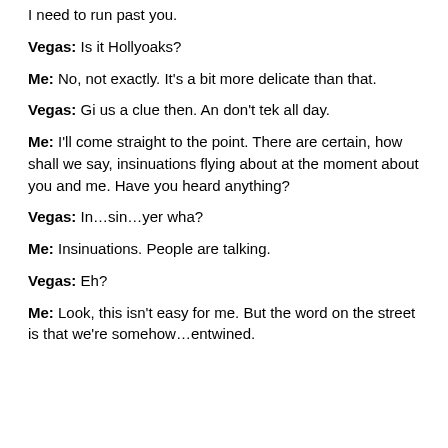I need to run past you.
Vegas:  Is it Hollyoaks?
Me:  No, not exactly. It's a bit more delicate than that.
Vegas:  Gi us a clue then. An don't tek all day.
Me:  I'll come straight to the point. There are certain, how shall we say, insinuations flying about at the moment about you and me. Have you heard anything?
Vegas:  In…sin…yer wha?
Me:  Insinuations. People are talking.
Vegas:  Eh?
Me:  Look, this isn't easy for me. But the word on the street is that we're somehow…entwined.